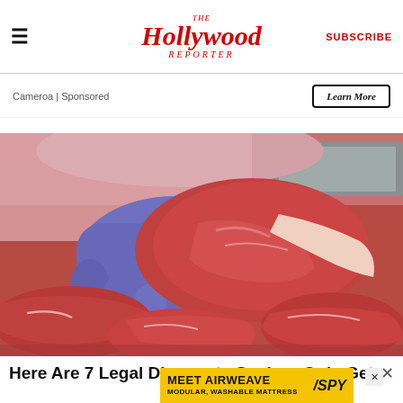The Hollywood Reporter | SUBSCRIBE
Cameroa | Sponsored
Learn More
[Figure (photo): Butcher in gloves handling a large cut of raw red meat at a meat counter, surrounded by various cuts of beef]
Here Are 7 Legal Discounts Seniors Only Get If They
[Figure (infographic): Advertisement banner: MEET AIRWEAVE MODULAR, WASHABLE MATTRESS with SPY logo on yellow background]